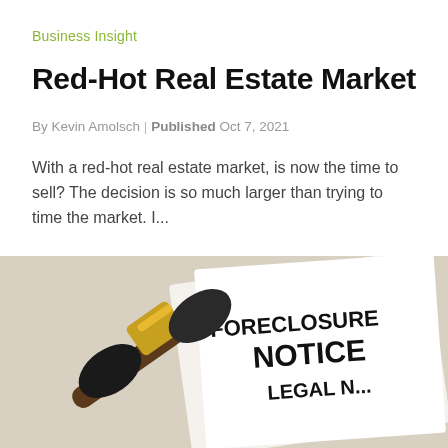Business Insight
Red-Hot Real Estate Market
By Kevin Amolsch | Published Oct 7, 2021
With a red-hot real estate market, is now the time to sell? The decision is so much larger than trying to time the market. I...
[Figure (photo): A judge's gavel next to a foreclosure notice document reading FORECLOSURE NOTICE LEGAL...]